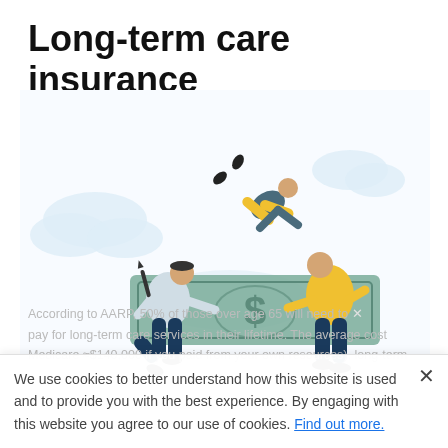Long-term care insurance
[Figure (illustration): Illustration of two people holding a large dollar bill like a safety net, with a third person (wearing yellow pants) falling through the air above them. Clouds in background. Blue and yellow color scheme.]
According to AARP, 50% of those over age 65 will need to pay for long-term care services in their lifetime. The average cost Medicare ≈$140,000 if you paid from your own resources), long-term
We use cookies to better understand how this website is used and to provide you with the best experience. By engaging with this website you agree to our use of cookies. Find out more.